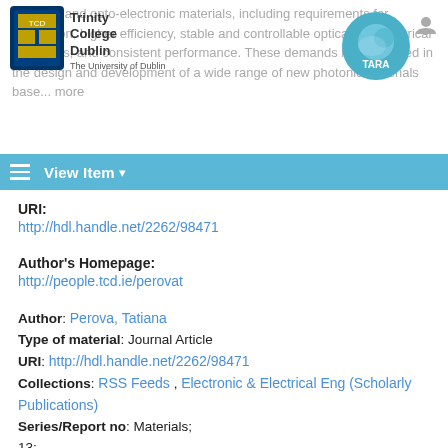Trinity College Dublin | TARA repository header with navigation bar showing 'View Item'
URI:
http://hdl.handle.net/2262/98471
Author's Homepage:
http://people.tcd.ie/perovat
Author: Perova, Tatiana | Type of material: Journal Article | URI: http://hdl.handle.net/2262/98471 | Collections: RSS Feeds , Electronic & Electrical Eng (Scholarly Publications) | Series/Report no: Materials; 13; | Availability: Full text available | Subject (TCD): Nanoscience & Materials | DOI: https://doi.org/10.3390/ma13225263